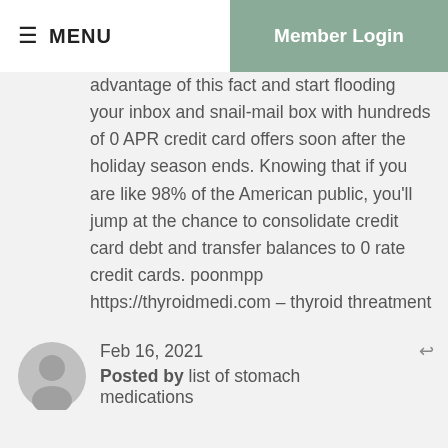≡ MENU   Member Login
advantage of this fact and start flooding your inbox and snail-mail box with hundreds of 0 APR credit card offers soon after the holiday season ends. Knowing that if you are like 98% of the American public, you'll jump at the chance to consolidate credit card debt and transfer balances to 0 rate credit cards. poonmpp https://thyroidmedi.com – thyroid threatment
Feb 16, 2021
Posted by list of stomach medications